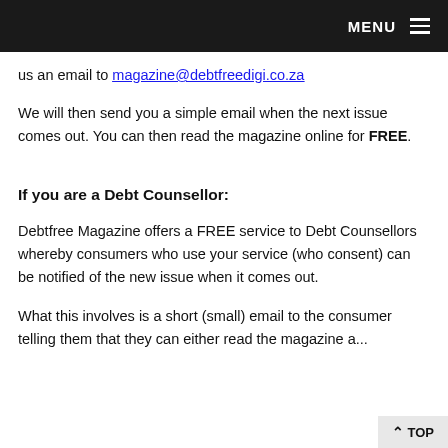MENU
us an email to magazine@debtfreedigi.co.za
We will then send you a simple email when the next issue comes out. You can then read the magazine online for FREE.
If you are a Debt Counsellor:
Debtfree Magazine offers a FREE service to Debt Counsellors whereby consumers who use your service (who consent) can be notified of the new issue when it comes out.
What this involves is a short (small) email to the consumer telling them that they can either read the magazine a...
TOP